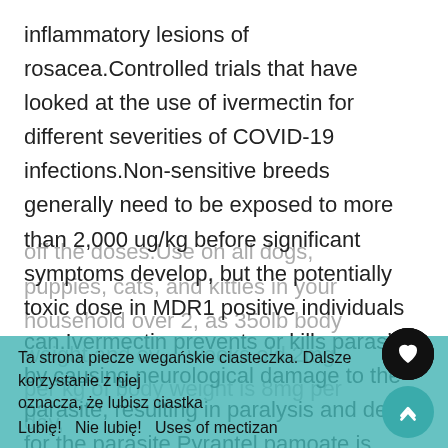inflammatory lesions of rosacea.Controlled trials that have looked at the use of ivermectin for different severities of COVID-19 infections.Non-sensitive breeds generally need to be exposed to more than 2,000 ug/kg before significant symptoms develop, but the potentially toxic dose in MDR1 positive individuals can.Ivermectin prevents or kills parasites by causing neurological damage to the parasite, resulting in paralysis and death for the parasite Pyrantel pamoate is otherwise a very safe dewormer for dogs ( 18, 19, 20 ).Adult dogs that have the disease usually have weakened immune systems How to use Ivermectin.Use a felt pen to m
off the doses.Use on all dogs, puppies, cats, and kitties in your household over 2, as 35olb body weight and over weeks old.2mg per kg of body weight is 8mg per day,
Ta strona piecze wegańskie ciasteczka. Dalsze korzystanie z niej oznacza, że lubisz ciastka
Lubię!   Nie lubię!   Uses of mectizan